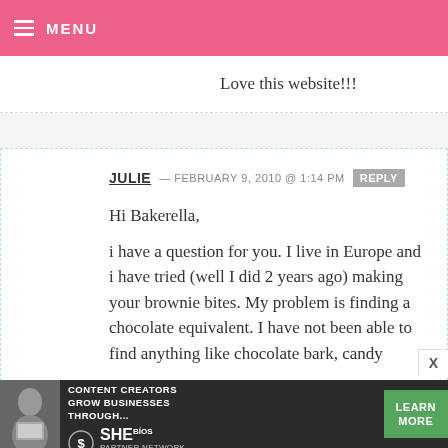MENU
Love this website!!!
JULIE — FEBRUARY 9, 2010 @ 1:14 PM [REPLY]
Hi Bakerella,

i have a question for you. I live in Europe and i have tried (well I did 2 years ago) making your brownie bites. My problem is finding a chocolate equivalent. I have not been able to find anything like chocolate bark, candy
[Figure (infographic): Advertisement banner: WE HELP CONTENT CREATORS GROW BUSINESSES THROUGH... SHE PARTNER NETWORK BECOME A MEMBER — LEARN MORE button]